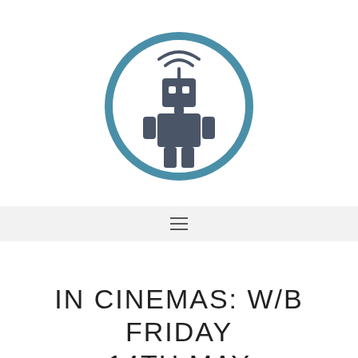[Figure (logo): A robot logo inside a teal/steel blue circle. The robot is dark slate-blue with a square head, wifi/signal waves above antenna, rectangular body, small arm extensions, and two leg blocks. The circle is a thick teal ring.]
[Figure (other): Hamburger menu icon: three horizontal lines stacked, centered on a light grey navigation bar.]
IN CINEMAS: W/B FRIDAY 14TH MAY
05.18.2010 by NICOLA BALKIND // LEAVE A COMMENT